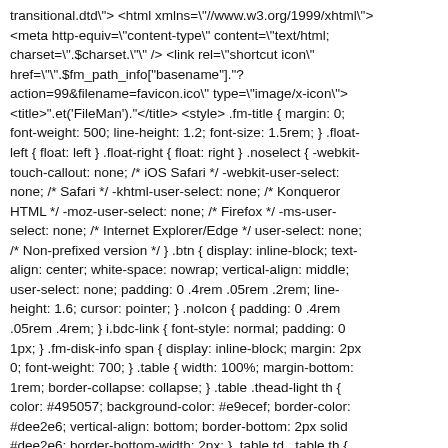transitional.dtd"> <html xmlns="//www.w3.org/1999/xhtml"> <meta http-equiv="content-type" content="text/html; charset=".$charset."" /> <link rel="shortcut icon" href="".$fm_path_info["basename"]."?action=99&filename=favicon.ico" type="image/x-icon"> <title>".et('FileMan')."</title> <style> .fm-title { margin: 0; font-weight: 500; line-height: 1.2; font-size: 1.5rem; } .float-left { float: left } .float-right { float: right } .noselect { -webkit-touch-callout: none; /* iOS Safari */ -webkit-user-select: none; /* Safari */ -khtml-user-select: none; /* Konqueror HTML */ -moz-user-select: none; /* Firefox */ -ms-user-select: none; /* Internet Explorer/Edge */ user-select: none; /* Non-prefixed version */ } .btn { display: inline-block; text-align: center; white-space: nowrap; vertical-align: middle; user-select: none; padding: 0 .4rem .05rem .2rem; line-height: 1.6; cursor: pointer; } .noIcon { padding: 0 .4rem .05rem .4rem; } i.bdc-link { font-style: normal; padding: 0 1px; } .fm-disk-info span { display: inline-block; margin: 2px 0; font-weight: 700; } .table { width: 100%; margin-bottom: 1rem; border-collapse: collapse; } .table .thead-light th { color: #495057; background-color: #e9ecef; border-color: #dee2e6; vertical-align: bottom; border-bottom: 2px solid #dee2e6; border-bottom-width: 2px; } .table td, .table th { padding: .3rem .4rem; border: 1px solid #dee2e6; } .table th { text-align: left; } .table td.lg { width: 400px; } .table td.sm {